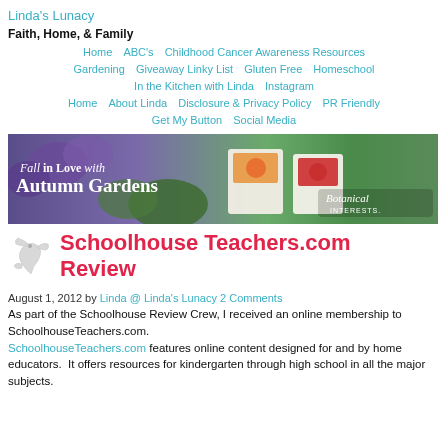Linda's Lunacy
Faith, Home, & Family
Home | ABC's | Childhood Cancer Awareness Resources | Gardening | Giveaway Linky List | Gluten Free | Homeschool | In the Kitchen with Linda | Instagram | Home | About Linda | Disclosure & Privacy Policy | PR Friendly | Get My Button | Social Media
[Figure (illustration): Banner advertisement: Fall in Love with Autumn Gardens - Botanical Interests. Background of purple and green flowers with seed packets.]
Schoolhouse Teachers.com Review
August 1, 2012 by Linda @ Linda's Lunacy 2 Comments
As part of the Schoolhouse Review Crew, I received an online membership to SchoolhouseTeachers.com. SchoolhouseTeachers.com features online content designed for and by home educators.  It offers resources for kindergarten through high school in all the major subjects.